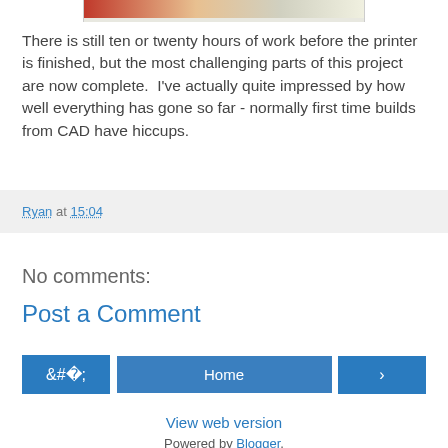[Figure (photo): Partial view of a photograph at top of page, cropped showing bottom edge of an image]
There is still ten or twenty hours of work before the printer is finished, but the most challenging parts of this project are now complete.  I've actually quite impressed by how well everything has gone so far - normally first time builds from CAD have hiccups.
Ryan at 15:04
No comments:
Post a Comment
‹ Home ›
View web version
Powered by Blogger.